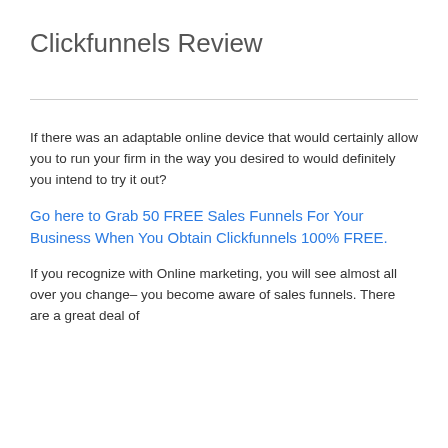Clickfunnels Review
If there was an adaptable online device that would certainly allow you to run your firm in the way you desired to would definitely you intend to try it out?
Go here to Grab 50 FREE Sales Funnels For Your Business When You Obtain Clickfunnels 100% FREE.
If you recognize with Online marketing, you will see almost all over you change– you become aware of sales funnels. There are a great deal of